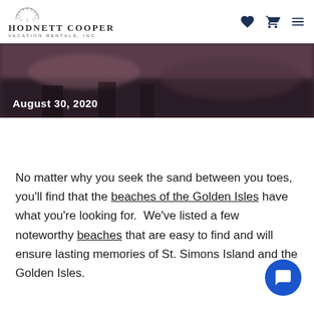Hodnett Cooper Vacation Rentals, Inc.
[Figure (photo): Blurred street/rainy scene photo strip with date overlay reading August 30, 2020]
No matter why you seek the sand between you toes, you'll find that the beaches of the Golden Isles have what you're looking for.  We've listed a few noteworthy beaches that are easy to find and will ensure lasting memories of St. Simons Island and the Golden Isles.